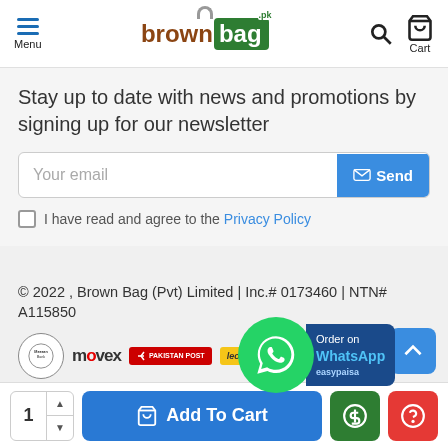brownbag.pk — Menu | Cart
Stay up to date with news and promotions by signing up for our newsletter
Your email [Send button] I have read and agree to the Privacy Policy
© 2022 , Brown Bag (Pvt) Limited | Inc.# 0173460 | NTN# A115850
[Figure (logo): Partner logos: Meezan Bank, Movex, Pakistan Post, Leopards, WhatsApp Order on WhatsApp easypaisa]
1 Add To Cart